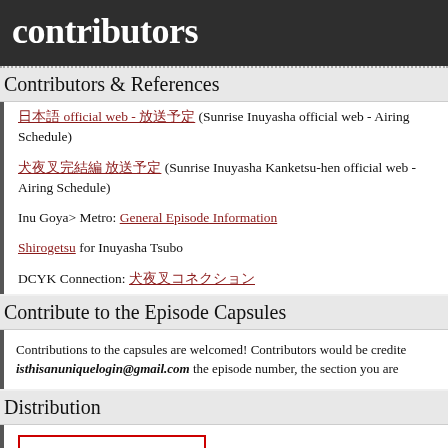contributors
Contributors & References
日本語 official web - 放送予定 (Sunrise Inuyasha official web - Airing Schedule)
犬夜叉完結編 放送予定 (Sunrise Inuyasha Kanketsu-hen official web - Airing Schedule)
Inu Goya> Metro: General Episode Information
Shirogetsu for Inuyasha Tsubo
DCYK Connection: 犬夜叉コネクション
Contribute to the Episode Capsules
Contributions to the capsules are welcomed! Contributors would be credited. isthisanuniquelogin@gmail.com the episode number, the section you are
Distribution
[Figure (logo): Inuyasha Scripts logo badge with red border]
This episode capsule is maintained by Inuyasha Scripts and is free for diss